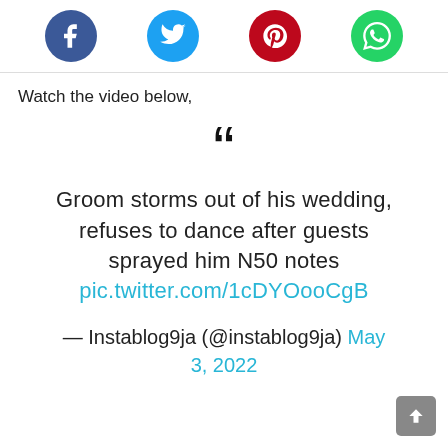[Figure (infographic): Social share buttons: Facebook (blue), Twitter (light blue), Pinterest (red), WhatsApp (green) as circular icons in a row]
Watch the video below,
Groom storms out of his wedding, refuses to dance after guests sprayed him N50 notes pic.twitter.com/1cDYOooCgB

— Instablog9ja (@instablog9ja) May 3, 2022